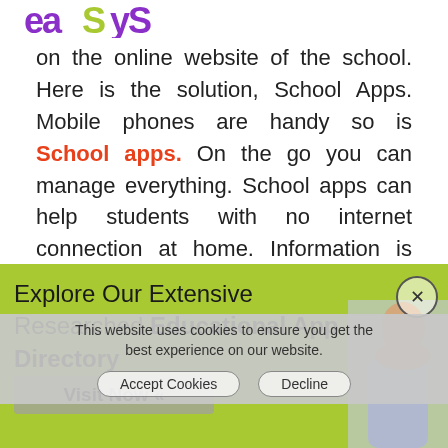[Figure (logo): EaSyS logo in purple/green stylized text]
on the online website of the school. Here is the solution, School Apps. Mobile phones are handy so is School apps. On the go you can manage everything. School apps can help students with no internet connection at home. Information is just a click away with the latest
[Figure (infographic): Green promotional banner: Explore Our Extensive Researched Educational App Directory, with Visit Now button and person image, and close (x) button]
[Figure (screenshot): Cookie consent overlay: This website uses cookies to ensure you get the best experience on our website. Accept Cookies / Decline buttons]
3. Communication